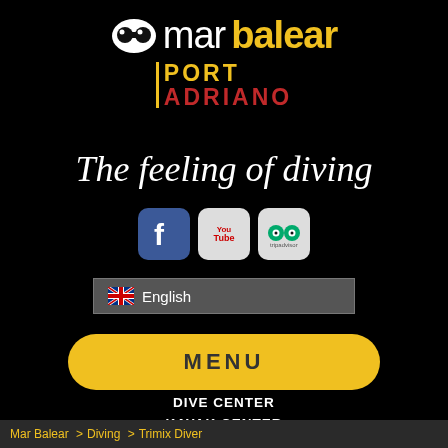[Figure (logo): Mar Balear Port Adriano logo with diving mask icon, 'mar' in white, 'balear' in yellow bold, PORT in yellow and ADRIANO in red below a yellow vertical bar]
The feeling of diving
[Figure (infographic): Social media icons: Facebook (blue f), YouTube (You Tube logo), TripAdvisor (owl logo)]
🇬🇧 English
MENU
DIVE CENTER
KAYAK CENTER
SUP CENTER
SAILING CENTER
Mar Balear  > Diving  > Trimix Diver